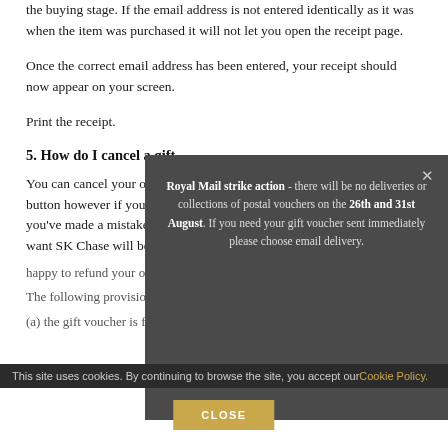the buying stage. If the email address is not entered identically as it was when the item was purchased it will not let you open the receipt page.
Once the correct email address has been entered, your receipt should now appear on your screen.
Print the receipt.
5. How do I cancel a gift...
[Figure (screenshot): Dark grey modal popup with text: 'Royal Mail strike action - there will be no deliveries or collections of postal vouchers on the 26th and 31st August. If you need your gift voucher sent immediately please choose email delivery.' with a close X button.]
You can cancel your order at any point by selecting the 'Cancel Order' button however if you have completed the transaction and realise that you've made a mistake or purchased a gift voucher(s) that you no longer want SK Chase will be
happy to refund your order in accordance with the provisions of law.
The following provisions will apply in respect of all gift vouchers, unless
(a) the gift voucher is for a specified period of performance; or
This site uses cookies. By continuing to browse the site, you accept our Cookie Policy.
CLOSE